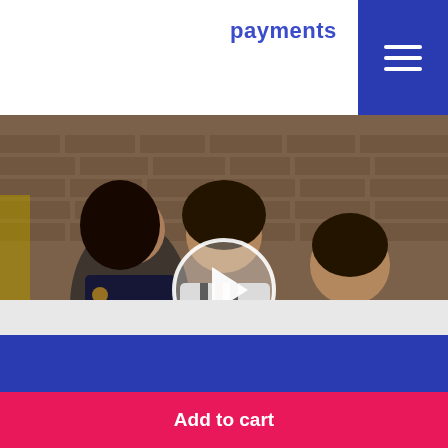payments
[Figure (photo): Three young people sitting on sofas around a white round table in a room with brick walls, smiling and interacting. A video play button is overlaid in the center of the image.]
CardoO iNote for Engineers
10,341 ratings ★★★★★
2,000 EGP (strikethrough) 1,499 EGP
Add to cart